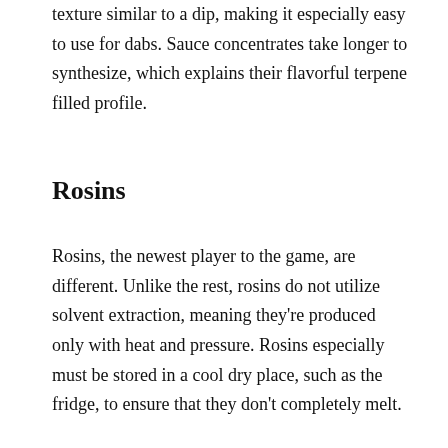texture similar to a dip, making it especially easy to use for dabs. Sauce concentrates take longer to synthesize, which explains their flavorful terpene filled profile.
Rosins
Rosins, the newest player to the game, are different. Unlike the rest, rosins do not utilize solvent extraction, meaning they're produced only with heat and pressure. Rosins especially must be stored in a cool dry place, such as the fridge, to ensure that they don't completely melt.
Wax